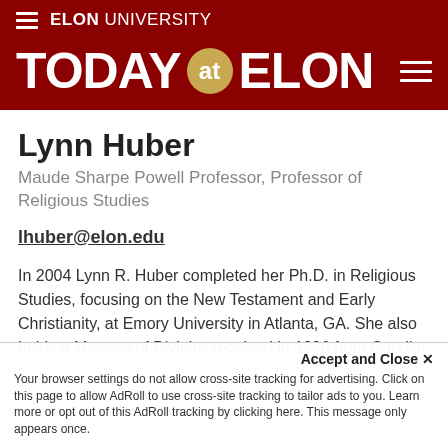ELON UNIVERSITY
TODAY at ELON
Lynn Huber
Maude Sharpe Powell Professor, Professor of Religious Studies
lhuber@elon.edu
In 2004 Lynn R. Huber completed her Ph.D. in Religious Studies, focusing on the New Testament and Early Christianity, at Emory University in Atlanta, GA. She also holds a Masters of Divinity, received in 1996 from Candler School of Theology at Emory, and a Bachelo
Accept and Close ✕
Your browser settings do not allow cross-site tracking for advertising. Click on this page to allow AdRoll to use cross-site tracking to tailor ads to you. Learn more or opt out of this AdRoll tracking by clicking here. This message only appears once.